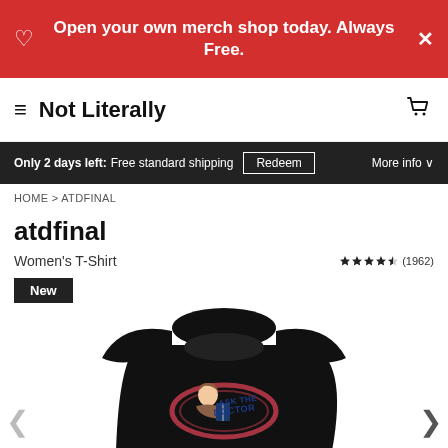Open your own merch shop today. Always Free.
Not Literally
Only 2 days left: Free standard shipping  Redeem  More info
HOME > ATDFINAL
atdfinal
Women's T-Shirt  ★★★★½ (1962)
New
[Figure (photo): Black women's t-shirt with 'Ask The Doctor' graphic design featuring a cartoon character holding a book]